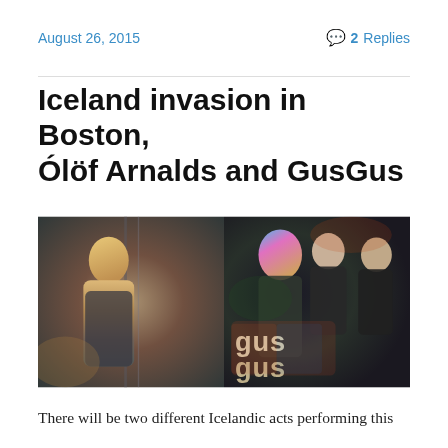August 26, 2015
2 Replies
Iceland invasion in Boston, Ólöf Arnalds and GusGus
[Figure (photo): Split composite photo: left side shows a young blonde woman looking down in a moody, dark indoor setting; right side shows the band GusGus with colorful lighting and the 'gus gus' logo in the lower portion.]
There will be two different Icelandic acts performing this th...